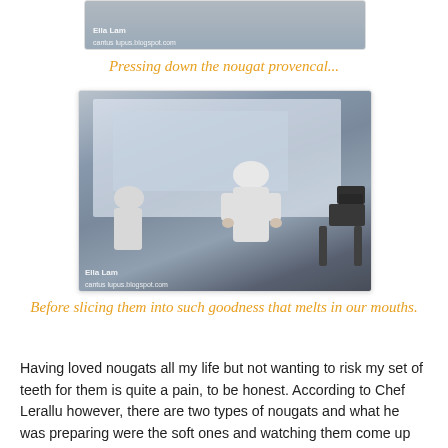[Figure (photo): Partial view of a cooking demonstration scene showing pressing down nougat provencal, watermark: Ella Lam, cantus lupus.blogspot.com]
Pressing down the nougat provencal...
[Figure (photo): Chef in white coat and toque working at a table during a cooking demonstration, with a projection screen behind showing the nougat preparation, a second chef visible on the left, and a camera operator on the right. Watermarks: Ella Lam, cantus lupus.blogspot.com]
Before slicing them into such goodness that melts in our mouths.
Having loved nougats all my life but not wanting to risk my set of teeth for them is quite a pain, to be honest. According to Chef Lerallu however, there are two types of nougats and what he was preparing were the soft ones and watching them come up from scratch is amazing! Each step was done